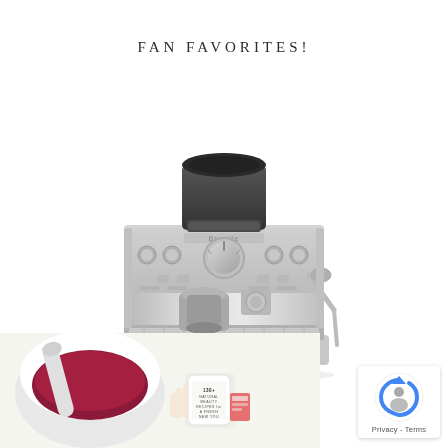FAN FAVORITES!
[Figure (photo): Stainless steel Breville espresso machine with built-in grinder, portafilter, steam wand, and control dials/buttons on front panel]
[Figure (photo): A bowl of red/purple blended mixture with a pestle, and a hand holding a white cream/lotion container with text overlay reading '130+ NATURAL BEAUTY RECIPES for A FRESH NEW YOU']
[Figure (logo): Google reCAPTCHA logo/badge with Privacy and Terms links]